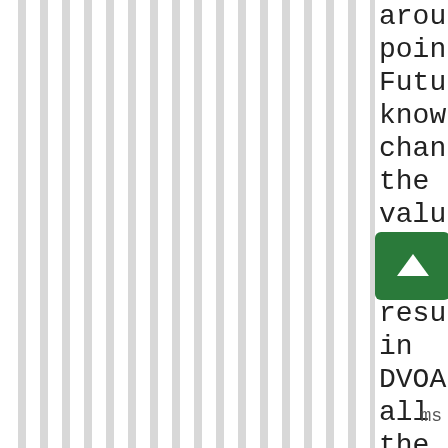[Figure (other): Vertical grey and white striped lines pattern covering the left portion of the page]
around point. Future knowledge changes the value of past results in DVOA all the time. This isn't anything new.